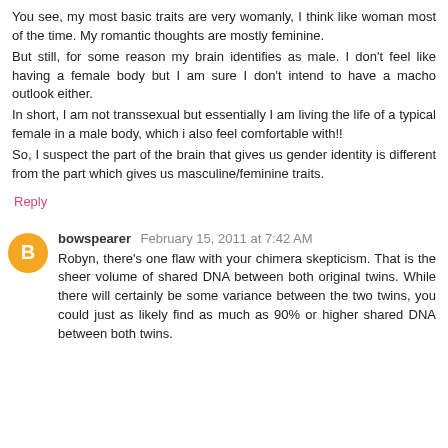You see, my most basic traits are very womanly, I think like woman most of the time. My romantic thoughts are mostly feminine.
But still, for some reason my brain identifies as male. I don't feel like having a female body but I am sure I don't intend to have a macho outlook either.
In short, I am not transsexual but essentially I am living the life of a typical female in a male body, which i also feel comfortable with!!
So, I suspect the part of the brain that gives us gender identity is different from the part which gives us masculine/feminine traits.
Reply
bowspearer  February 15, 2011 at 7:42 AM
Robyn, there's one flaw with your chimera skepticism. That is the sheer volume of shared DNA between both original twins. While there will certainly be some variance between the two twins, you could just as likely find as much as 90% or higher shared DNA between both twins.